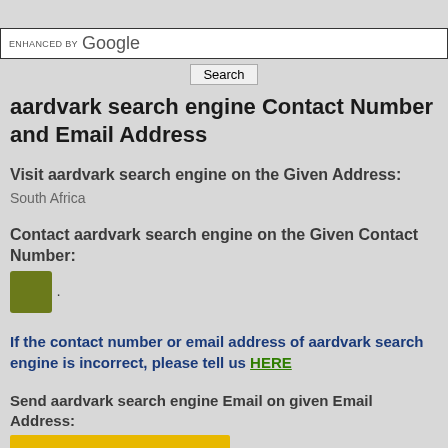ENHANCED BY Google
Search
aardvark search engine Contact Number and Email Address
Visit aardvark search engine on the Given Address:
South Africa
Contact aardvark search engine on the Given Contact Number:
[Figure (other): Olive/yellow-green colored square button placeholder]
If the contact number or email address of aardvark search engine is incorrect, please tell us HERE
Send aardvark search engine Email on given Email Address: